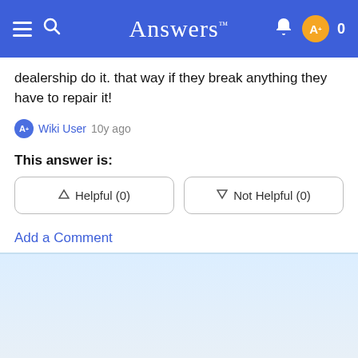Answers
dealership do it. that way if they break anything they have to repair it!
Wiki User 10y ago
This answer is:
Helpful (0)
Not Helpful (0)
Add a Comment
Add comment...